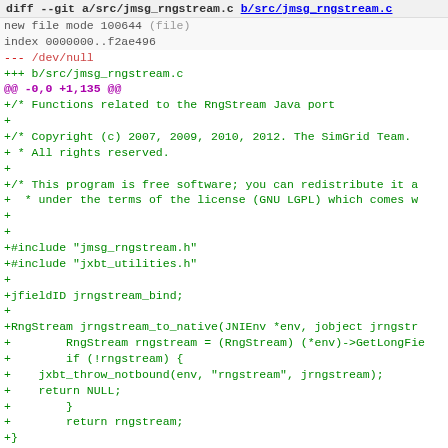diff --git a/src/jmsg_rngstream.c b/src/jmsg_rngstream.c
new file mode 100644 (file)
index 0000000..f2ae496
--- /dev/null
+++ b/src/jmsg_rngstream.c
@@ -0,0 +1,135 @@
+/* Functions related to the RngStream Java port
+
+/* Copyright (c) 2007, 2009, 2010, 2012. The SimGrid Team.
+ * All rights reserved.
+
+/* This program is free software; you can redistribute it a
+  * under the terms of the license (GNU LGPL) which comes w
+
+
+#include "jmsg_rngstream.h"
+#include "jxbt_utilities.h"
+
+jfieldID jrngstream_bind;
+
+RngStream jrngstream_to_native(JNIEnv *env, jobject jrngstr
+        RngStream rngstream = (RngStream) (*env)->GetLongFie
+        if (!rngstream) {
+    jxbt_throw_notbound(env, "rngstream", jrngstream);
+    return NULL;
+        }
+        return rngstream;
+}
+
+JNIEXPORT void JNICALL
+Java_org_simgrid_msg_RngStream_nativeInit(JNIEnv *env, jcla
+        jclass class_RngStream = (*env)->FindClass(env, her